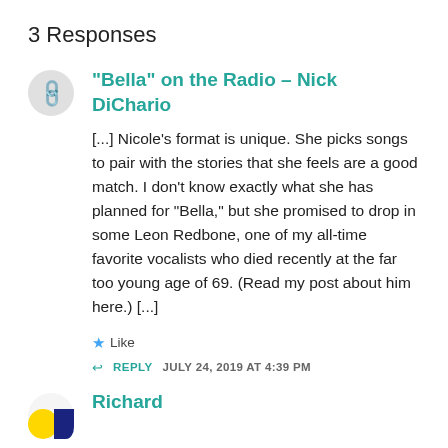3 Responses
“Bella” on the Radio – Nick DiChario
[...] Nicole’s format is unique. She picks songs to pair with the stories that she feels are a good match. I don’t know exactly what she has planned for “Bella,” but she promised to drop in some Leon Redbone, one of my all-time favorite vocalists who died recently at the far too young age of 69. (Read my post about him here.) [...]
★ Like
↩ REPLY   JULY 24, 2019 AT 4:39 PM
Richard